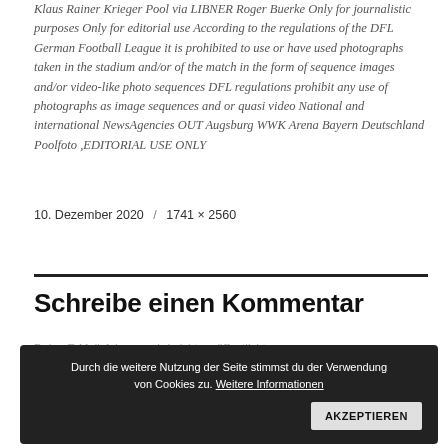Klaus Rainer Krieger Pool via LIBNER Roger Buerke Only for journalistic purposes Only for editorial use According to the regulations of the DFL German Football League it is prohibited to use or have used photographs taken in the stadium and/or of the match in the form of sequence images and/or video-like photo sequences DFL regulations prohibit any use of photographs as image sequences and or quasi video National and international NewsAgencies OUT Augsburg WWK Arena Bayern Deutschland Poolfoto ,EDITORIAL USE ONLY
10. Dezember 2020 / 1741 × 2560
Schreibe einen Kommentar
Deine E-Mail-Adresse wird nicht veröffentlicht. Erforderliche Felder sind mit * markiert.